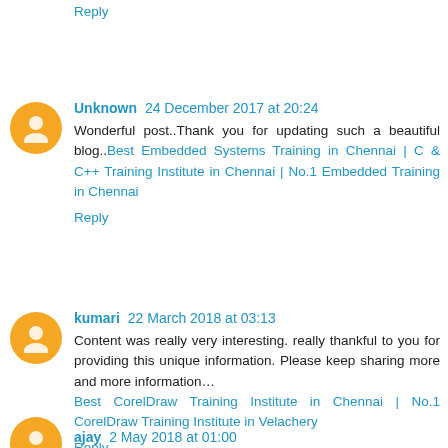Reply
Unknown 24 December 2017 at 20:24
Wonderful post..Thank you for updating such a beautiful blog..Best Embedded Systems Training in Chennai | C & C++ Training Institute in Chennai | No.1 Embedded Training in Chennai
Reply
kumari 22 March 2018 at 03:13
Content was really very interesting. really thankful to you for providing this unique information. Please keep sharing more and more information… Best CorelDraw Training Institute in Chennai | No.1 CorelDraw Training Institute in Velachery
Reply
ajay 2 May 2018 at 01:00